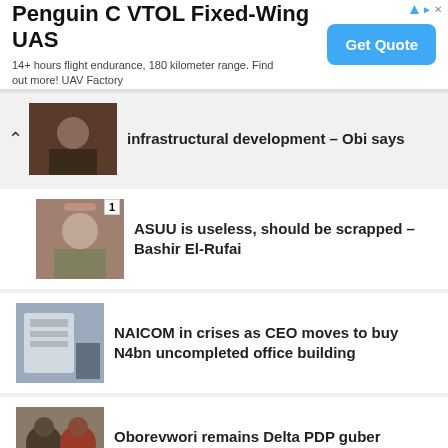[Figure (screenshot): Advertisement banner for Penguin C VTOL Fixed-Wing UAS with Get Quote button]
infrastructural development – Obi says
ASUU is useless, should be scrapped – Bashir El-Rufai
NAICOM in crises as CEO moves to buy N4bn uncompleted office building
Oborevwori remains Delta PDP guber candidate – Appeal Court affirms
Strike: We've met 80% of ASUU's demands – FG